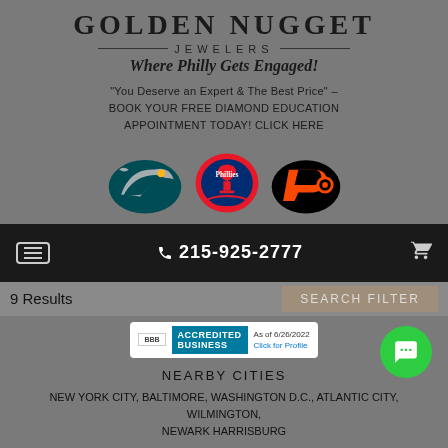GOLDEN NUGGET JEWELERS
Where Philly Gets Engaged!
"You Deserve an Expert & The Best Price" – BOOK YOUR FREE DIAMOND EDUCATION APPOINTMENT TODAY! CLICK HERE
[Figure (logo): Philadelphia Eagles, Phillies, and Flyers sports team logos]
215-925-2777
9 Results
SEARCH FILTER
[Figure (logo): BBB Accredited Business badge, As of 6/26/2022, Click for Profile]
NEARBY CITIES
NEW YORK CITY, BALTIMORE, WASHINGTON D.C., ATLANTIC CITY, WILMINGTON, NEWARK HARRISBURG
[Figure (logo): Social media icons: Twitter, Facebook, Instagram, LinkedIn]